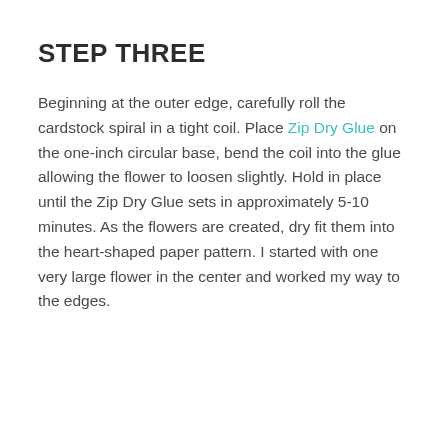STEP THREE
Beginning at the outer edge, carefully roll the cardstock spiral in a tight coil. Place Zip Dry Glue on the one-inch circular base, bend the coil into the glue allowing the flower to loosen slightly. Hold in place until the Zip Dry Glue sets in approximately 5-10 minutes. As the flowers are created, dry fit them into the heart-shaped paper pattern. I started with one very large flower in the center and worked my way to the edges.